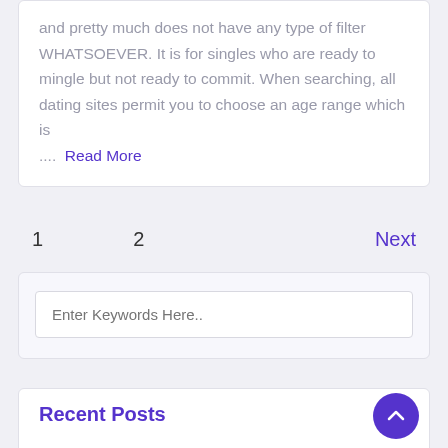and pretty much does not have any type of filter WHATSOEVER. It is for singles who are ready to mingle but not ready to commit. When searching, all dating sites permit you to choose an age range which is .... Read More
1   2   Next
Enter Keywords Here..
Recent Posts